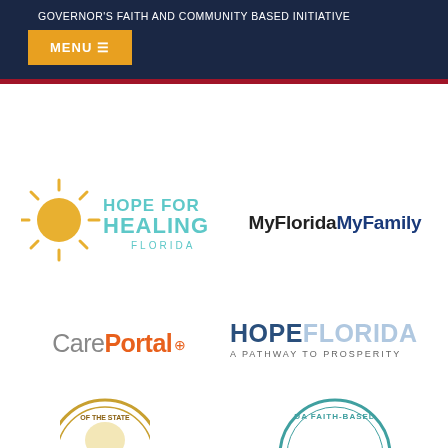GOVERNOR'S FAITH AND COMMUNITY BASED INITIATIVE
[Figure (logo): MENU navigation button with hamburger icon on dark navy blue header background with red accent bar]
[Figure (logo): Hope for Healing Florida logo - sun icon in yellow/orange with teal text reading HOPE FOR HEALING and FLORIDA below]
[Figure (logo): MyFloridaMyFamily logo - bold black and dark blue text]
[Figure (logo): CarePortal logo - Care in gray, Portal in orange, with small icon]
[Figure (logo): HOPE FLORIDA A PATHWAY TO PROSPERITY logo - HOPE in dark blue, FLORIDA in light blue]
[Figure (logo): Florida state seal - partially visible circular gold seal at bottom left]
[Figure (logo): Florida Faith-Based organization seal - partially visible teal circular seal at bottom right]